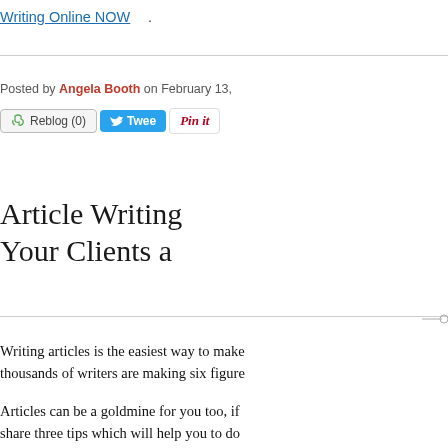Writing Online NOW.
Posted by Angela Booth on February 13,
[Figure (other): Social sharing buttons: Reblog (0), Tweet, Pin it]
Article Writing Your Clients a
Writing articles is the easiest way to make — thousands of writers are making six figure
Articles can be a goldmine for you too, if — share three tips which will help you to do
1. Write Articles for Yourself, First
Who's your first best client? Yourself -- no yourself, and keep writing.